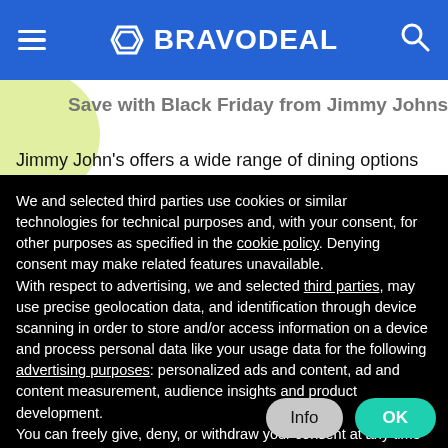BRAVODEAL
Save with Black Friday from Jimmy Johns
Jimmy John's offers a wide range of dining options at a reasonable price. With Black Friday and Cyber Monday just around the corner, you can expect even
We and selected third parties use cookies or similar technologies for technical purposes and, with your consent, for other purposes as specified in the cookie policy. Denying consent may make related features unavailable.
With respect to advertising, we and selected third parties, may use precise geolocation data, and identification through device scanning in order to store and/or access information on a device and process personal data like your usage data for the following advertising purposes: personalized ads and content, ad and content measurement, audience insights and product development.
You can freely give, deny, or withdraw your consent at any time by accessing the preferences panel.
You can consent to the use of such technologies by using the “OK” button or by continuing to browse otherwise.